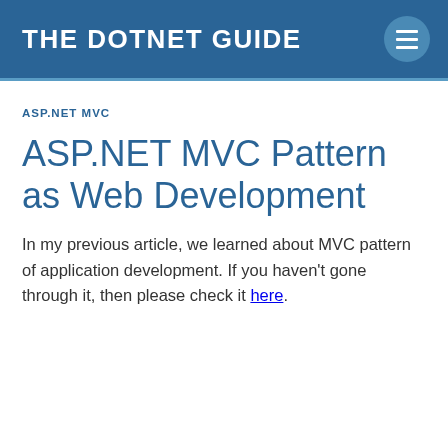THE DOTNET GUIDE
ASP.NET MVC
ASP.NET MVC Pattern as Web Development
In my previous article, we learned about MVC pattern of application development. If you haven't gone through it, then please check it here.